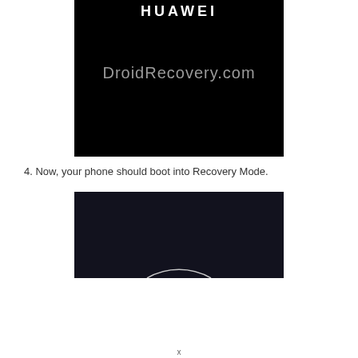[Figure (screenshot): A black smartphone screen showing 'DroidRecovery.com' watermark text in gray, with partial 'HUAWEI' branding visible at the top in white text. Black background boot screen.]
4. Now, your phone should boot into Recovery Mode.
[Figure (screenshot): A dark smartphone screen showing a partial white arc/circle at the bottom center, on a very dark navy/black background — boot animation screen.]
x